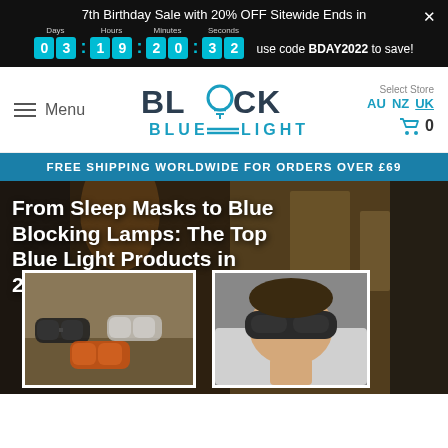7th Birthday Sale with 20% OFF Sitewide Ends in  03:19:20:32  use code BDAY2022 to save!
[Figure (logo): Block Blue Light logo with lightbulb design]
Menu
Select Store  AU  NZ  UK  Cart 0
FREE SHIPPING WORLDWIDE FOR ORDERS OVER £69
From Sleep Masks to Blue Blocking Lamps: The Top Blue Light Products in 2021
[Figure (photo): Photo of blue light blocking glasses on a table]
[Figure (photo): Photo of a person wearing a sleep mask]